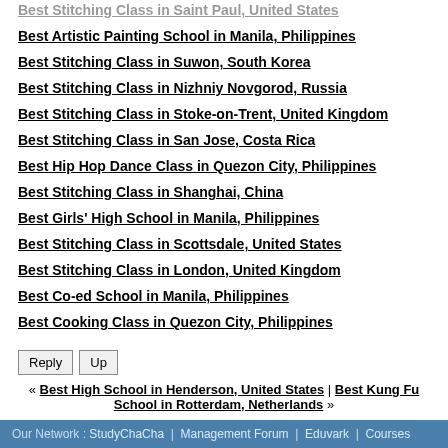Best Stitching Class in Saint Paul, United States
Best Artistic Painting School in Manila, Philippines
Best Stitching Class in Suwon, South Korea
Best Stitching Class in Nizhniy Novgorod, Russia
Best Stitching Class in Stoke-on-Trent, United Kingdom
Best Stitching Class in San Jose, Costa Rica
Best Hip Hop Dance Class in Quezon City, Philippines
Best Stitching Class in Shanghai, China
Best Girls' High School in Manila, Philippines
Best Stitching Class in Scottsdale, United States
Best Stitching Class in London, United Kingdom
Best Co-ed School in Manila, Philippines
Best Cooking Class in Quezon City, Philippines
Reply  Up
« Best High School in Henderson, United States | Best Kung Fu School in Rotterdam, Netherlands »
Our Network : StudyChaCha | Management Forum | Eduvark | Courses